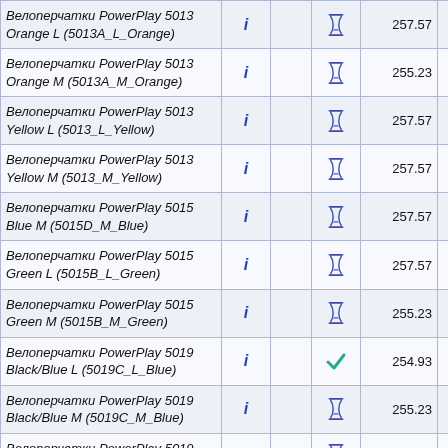| Name | i |  | Status | Price1 | Price2 |
| --- | --- | --- | --- | --- | --- |
| Велоперчатки PowerPlay 5013 Orange L (5013A_L_Orange) | i |  | ⧗ | 257.57 | 257.57 |
| Велоперчатки PowerPlay 5013 Orange M (5013A_M_Orange) | i |  | ⧗ | 255.23 | 255.23 |
| Велоперчатки PowerPlay 5013 Yellow L (5013_L_Yellow) | i |  | ⧗ | 257.57 | 257.57 |
| Велоперчатки PowerPlay 5013 Yellow M (5013_M_Yellow) | i |  | ⧗ | 257.57 | 257.57 |
| Велоперчатки PowerPlay 5015 Blue M (5015D_M_Blue) | i |  | ⧗ | 257.57 | 257.57 |
| Велоперчатки PowerPlay 5015 Green L (5015B_L_Green) | i |  | ⧗ | 257.57 | 257.57 |
| Велоперчатки PowerPlay 5015 Green M (5015B_M_Green) | i |  | ⧗ | 255.23 | 255.23 |
| Велоперчатки PowerPlay 5019 Black/Blue L (5019C_L_Blue) | i |  | ✓ | 254.93 | 254.93 |
| Велоперчатки PowerPlay 5019 Black/Blue M (5019C_M_Blue) | i |  | ⧗ | 255.23 | 255.23 |
| Велоперчатки PowerPlay 5019 Black/Green L | i |  | ⧗ | 255.23 | 255.23 |